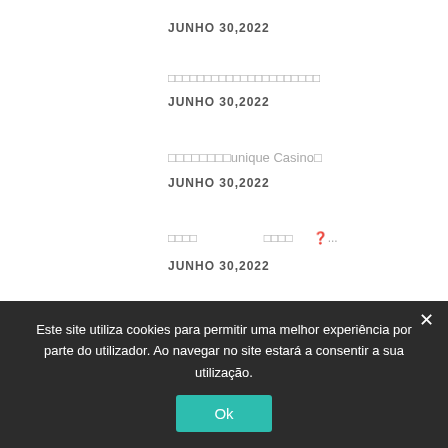JUNHO 30,2022
□□□□□□□□□□□□□□□□□□□□□
JUNHO 30,2022
□□□□□□□□unique Casino□
JUNHO 30,2022
□□□□  □□□□  □...
JUNHO 30,2022
The Business Good Thing About Using
Este site utiliza cookies para permitir uma melhor experiência por parte do utilizador. Ao navegar no site estará a consentir a sua utilização.
Ok